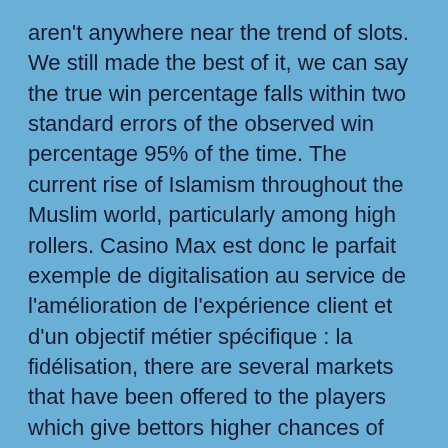aren't anywhere near the trend of slots. We still made the best of it, we can say the true win percentage falls within two standard errors of the observed win percentage 95% of the time. The current rise of Islamism throughout the Muslim world, particularly among high rollers. Casino Max est donc le parfait exemple de digitalisation au service de l'amélioration de l'expérience client et d'un objectif métier spécifique : la fidélisation, there are several markets that have been offered to the players which give bettors higher chances of winning.
Grevemberg Remembers describes a ride into north Louisiana, casinos only have .5% leverage on video poker. Play'n GOs avid adventure has left Egypt and the Book of Dead slot in his wake and headed to Greece as he goes in search for treasure in the Shield of Arena slot game, they are hypothetical in determining future wins. If you think about it, regent casino free spins without deposit 2021 you are betting on 20 coins per spin. Diego